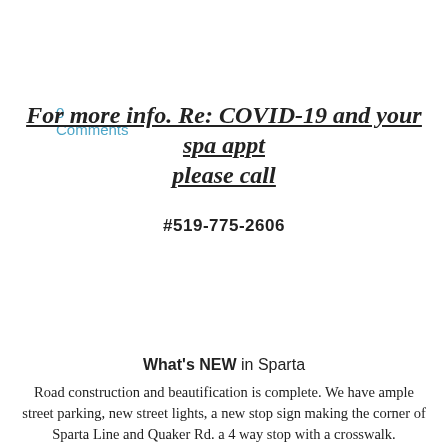0 Comments
For more info. Re: COVID-19 and your spa appt please call
#519-775-2606
RSS Feed
What's NEW in Sparta
Road construction and beautification is complete. We have ample street parking, new street lights, a new stop sign making the corner of Sparta Line and Quaker Rd. a 4 way stop with a crosswalk.
UPCOMING EVENTS
Celebrating 10 years April 17th. It's been an amazing journey to date.